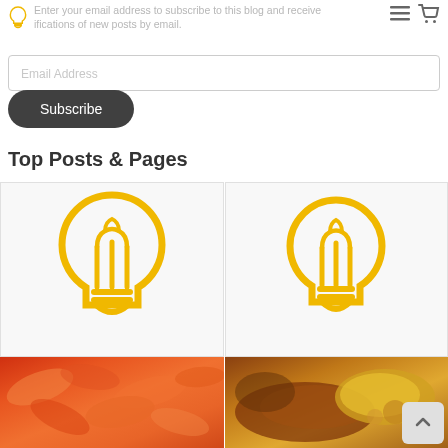Enter your email address to subscribe to this blog and receive notifications of new posts by email.
Email Address
Subscribe
Top Posts & Pages
[Figure (illustration): Golden yellow lightbulb icon outline on light gray background - left card]
[Figure (illustration): Golden yellow lightbulb icon outline on light gray background - right card]
[Figure (photo): Orange/red food items - carrots or similar vegetables, close-up]
[Figure (photo): Yellow and brown food items - cooked meat and corn or similar dish]